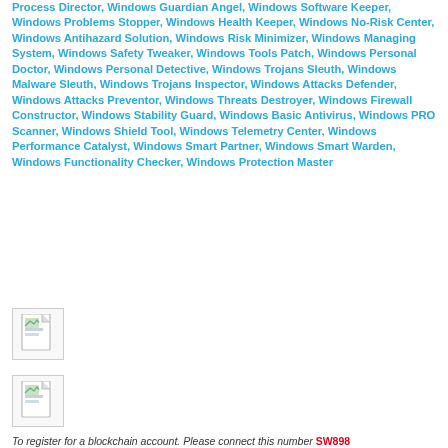Process Director, Windows Guardian Angel, Windows Software Keeper, Windows Problems Stopper, Windows Health Keeper, Windows No-Risk Center, Windows Antihazard Solution, Windows Risk Minimizer, Windows Managing System, Windows Safety Tweaker, Windows Tools Patch, Windows Personal Doctor, Windows Personal Detective, Windows Trojans Sleuth, Windows Malware Sleuth, Windows Trojans Inspector, Windows Attacks Defender, Windows Attacks Preventor, Windows Threats Destroyer, Windows Firewall Constructor, Windows Stability Guard, Windows Basic Antivirus, Windows PRO Scanner, Windows Shield Tool, Windows Telemetry Center, Windows Performance Catalyst, Windows Smart Partner, Windows Smart Warden, Windows Functionality Checker, Windows Protection Master
[Figure (illustration): Small document icon with image/file symbol]
[Figure (illustration): Small document icon with image/file symbol]
To register for a blockchain account. Please connect this number SW898...